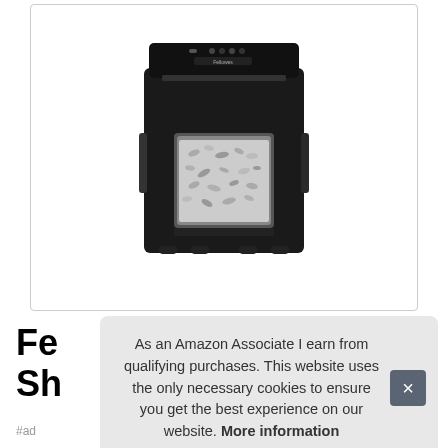[Figure (photo): Black Fellowes paper shredder with clear bin window showing shredded paper confetti, on small caster wheels, photographed on white background]
Fe
Sh
As an Amazon Associate I earn from qualifying purchases. This website uses the only necessary cookies to ensure you get the best experience on our website. More information
#ad